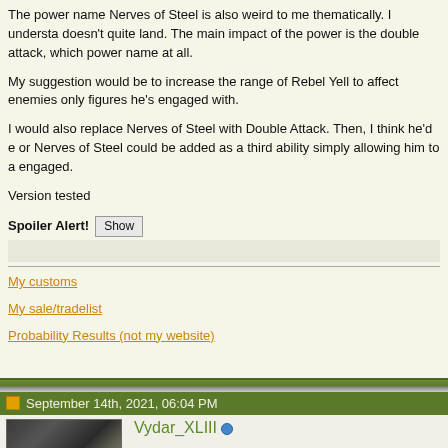The power name Nerves of Steel is also weird to me thematically. I understand doesn't quite land. The main impact of the power is the double attack, which power name at all.
My suggestion would be to increase the range of Rebel Yell to affect enemies only figures he's engaged with.
I would also replace Nerves of Steel with Double Attack. Then, I think he'd a or Nerves of Steel could be added as a third ability simply allowing him to a engaged.
Version tested
Spoiler Alert! Show
My customs
My sale/tradelist
Probability Results (not my website)
September 14th, 2021, 06:04 PM
Vydar_XLIII